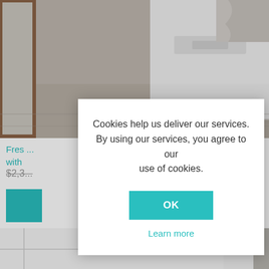[Figure (photo): White modern bathroom vanity cabinet with drawer handle, mounted on wall, mirror visible on left, light-colored floor, brown baseboard]
Fres... ...nity with ...
$2,3...
[Figure (photo): White modern wall-mounted cabinet/furniture piece against gray concrete-look wall, lower portion visible]
Cookies help us deliver our services. By using our services, you agree to our use of cookies.
OK
Learn more